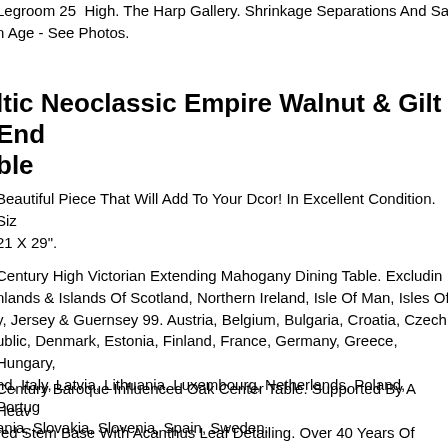Legroom 25 High. The Harp Gallery. Shrinkage Separations And Sa n Age - See Photos.
ltic Neoclassic Empire Walnut & Gilt End ble
Beautiful Piece That Will Add To Your Dcor! In Excellent Condition. Siz 21 X 29".
Century High Victorian Extending Mahogany Dining Table. Excludin nlands & Islands Of Scotland, Northern Ireland, Isle Of Man, Isles Of y, Jersey & Guernsey 99. Austria, Belgium, Bulgaria, Croatia, Czech ublic, Denmark, Estonia, Finland, France, Germany, Greece, Hungary, nd, Italy, Latvia, Lithuania, Luxembourg, Netherlands, Poland, Portug ania, Slovakia, Slovenia, Spain, Sweden.
Century Baroque Influenced Oak Center Table. Supported By A Heav red Stem Base With Acanthus Leaf Detailing. Over 40 Years Of Indust erience. Austria, Belgium, Bulgaria, Croatia, Czech Republic, Denmar nia, Finland, France, Germany, Greece, Hungary, Ireland, Italy, Latvia